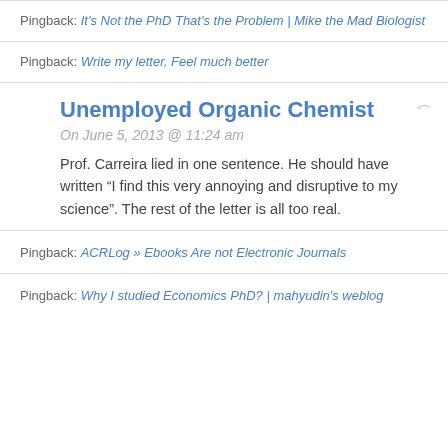Pingback: It's Not the PhD That's the Problem | Mike the Mad Biologist
Pingback: Write my letter, Feel much better
Unemployed Organic Chemist
On June 5, 2013 @ 11:24 am
Prof. Carreira lied in one sentence. He should have written “I find this very annoying and disruptive to my science”. The rest of the letter is all too real.
Pingback: ACRLog » Ebooks Are not Electronic Journals
Pingback: Why I studied Economics PhD? | mahyudin's weblog